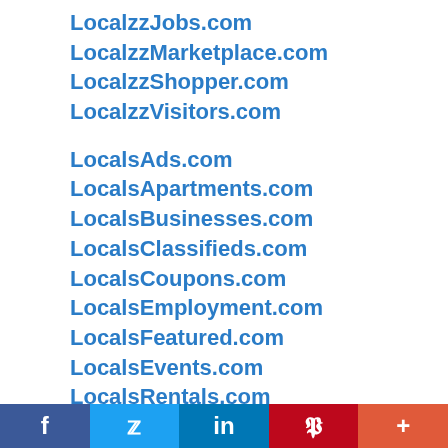LocalzzJobs.com
LocalzzMarketplace.com
LocalzzShopper.com
LocalzzVisitors.com
LocalsAds.com
LocalsApartments.com
LocalsBusinesses.com
LocalsClassifieds.com
LocalsCoupons.com
LocalsEmployment.com
LocalsFeatured.com
LocalsEvents.com
LocalsRentals.com
LocalsMarketplace.com
LocalsShopper.com
LocalsVehicles.com
[Figure (infographic): Social share bar with Facebook, Twitter, LinkedIn, Pinterest, and More buttons]